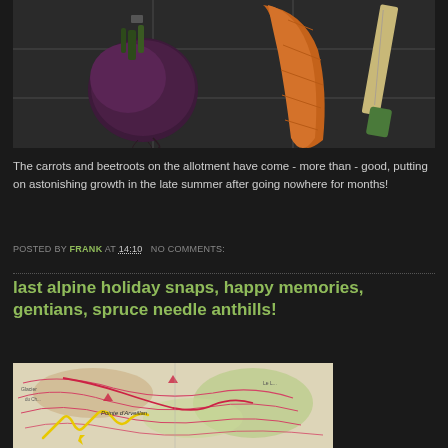[Figure (photo): Photo of a beetroot and a large carrot on a tiled surface with a green-handled knife]
The carrots and beetroots on the allotment have come - more than - good, putting on astonishing growth in the late summer after going nowhere for months!
POSTED BY FRANK AT 14:10  NO COMMENTS:
last alpine holiday snaps, happy memories, gentians, spruce needle anthills!
[Figure (photo): Topographic map showing alpine routes with yellow and pink/red trail markings, including a location labeled Pointe d'Arveillan]